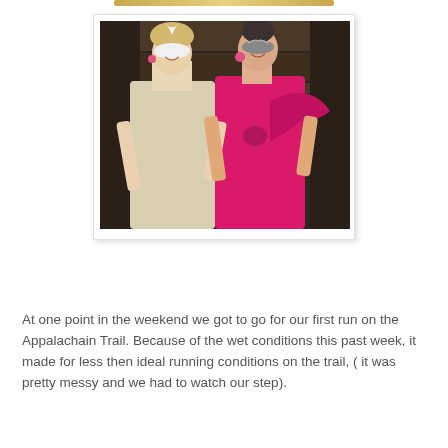[Figure (photo): Two women wearing masquerade masks posing together. The woman on the left wears a white/silver formal gown and a white feathered mask. The woman on the right wears a bright pink sparkly dress with a pink wrap and a decorative mask. They are standing in front of a dark stone/wood background.]
At one point in the weekend we got to go for our first run on the Appalachain Trail.  Because of the wet conditions this past week, it made for less then ideal running conditions on the trail, ( it was pretty messy and we had to watch our step).